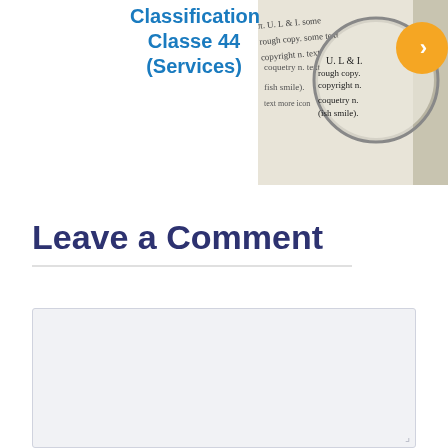Classification Classe 44 (Services)
[Figure (photo): Photo of a dictionary or book page with magnifying glass, showing text including 'copyright', 'coquetry', 'smile']
Leave a Comment
[Comment text area - empty input field]